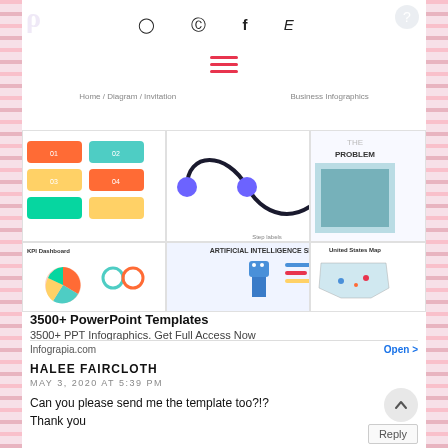[Figure (screenshot): Website header with social media icons (Instagram, Pinterest, Facebook, Etsy), hamburger menu in red/pink color, and navigation links]
[Figure (screenshot): Advertisement for Infograpia.com showing 3500+ PowerPoint Templates with thumbnail images of KPI Dashboard, AI slides, and US Map infographics]
3500+ PowerPoint Templates
3500+ PPT Infographics. Get Full Access Now
Infograpia.com
Open >
HALEE FAIRCLOTH
MAY 3, 2020 AT 5:39 PM
Can you please send me the template too?!?
Thank you